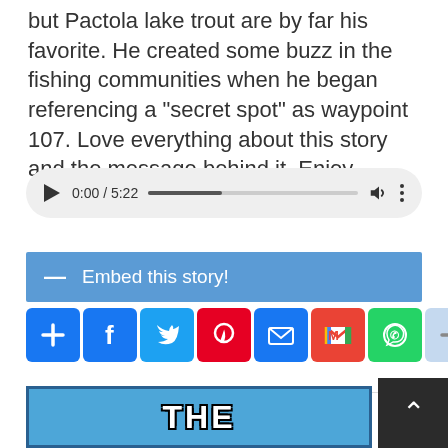but Pactola lake trout are by far his favorite. He created some buzz in the fishing communities when he began referencing a "secret spot" as waypoint 107. Love everything about this story and the message behind it. Enjoy.
[Figure (other): Audio player widget showing 0:00 / 5:22 with progress bar, volume icon, and more options]
[Figure (other): Blue embed bar with minus icon and text 'Embed this story!']
[Figure (other): Social share icon buttons: add, Facebook, Twitter, Pinterest, email, Gmail, WhatsApp, more]
[Figure (other): Partial bottom image with blue background showing the word THE in bold white outlined letters]